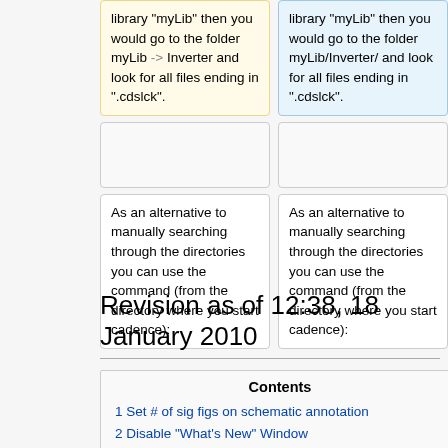library "myLib" then you would go to the folder myLib -> Inverter and look for all files ending in ".cdslck".
library "myLib" then you would go to the folder myLib/Inverter/ and look for all files ending in ".cdslck".
As an alternative to manually searching through the directories you can use the command (from the directory where you start cadence):
As an alternative to manually searching through the directories you can use the command (from the directory where you start cadence):
Revision as of 12:38, 18 January 2010
| Contents |
| --- |
| 1 Set # of sig figs on schematic annotation |
| 2 Disable "What's New" Window |